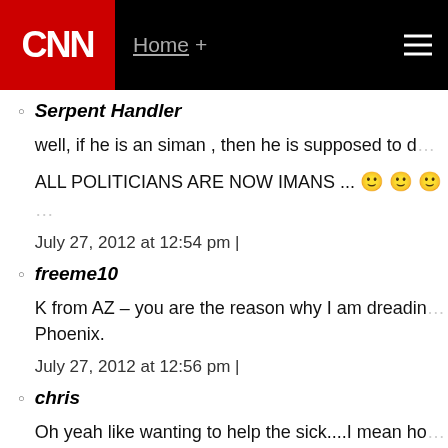CNN | Home +
Serpent Handler
well, if he is an siman , then he is supposed to d...
ALL POLITICIANS ARE NOW IMANS ... 🙂 🙂 🙂
July 27, 2012 at 12:54 pm |
freeme10
K from AZ – you are the reason why I am dreadin... Phoenix.
July 27, 2012 at 12:56 pm |
chris
Oh yeah like wanting to help the sick....I mean ho...
July 27, 2012 at 1:00 pm |
14. expakistani
The confusion surrounding the religious beliefs of Ob...